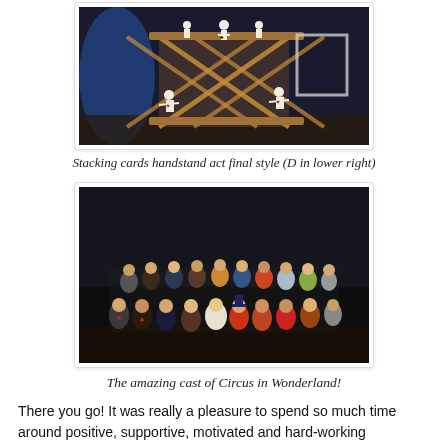[Figure (photo): Performers in white costumes doing a stacking cards handstand act on a large geometric wooden/metal structure on stage, with blue spotlight in background.]
Stacking cards handstand act final style (D in lower right)
[Figure (photo): Group photo of the full cast of Circus in Wonderland, wearing various colorful costumes, posed together on a dark stage.]
The amazing cast of Circus in Wonderland!
There you go! It was really a pleasure to spend so much time around positive, supportive, motivated and hard-working